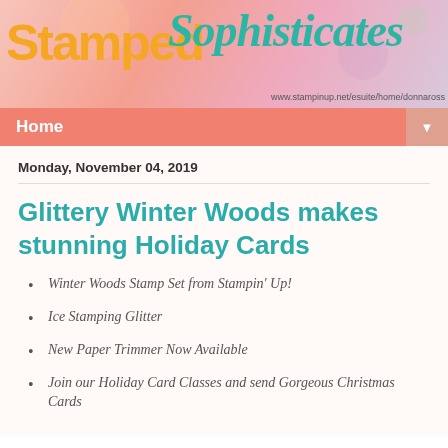[Figure (illustration): Stamped Sophisticates blog header banner with decorative floral background in pink and purple tones. Large orange text reads 'Stamped' and teal cursive text reads 'Sophisticates'. URL shown: www.stampinup.net/esuite/home/donnaross]
Home ▼
Monday, November 04, 2019
Glittery Winter Woods makes stunning Holiday Cards
Winter Woods Stamp Set from Stampin' Up!
Ice Stamping Glitter
New Paper Trimmer Now Available
Join our Holiday Card Classes and send Gorgeous Christmas Cards